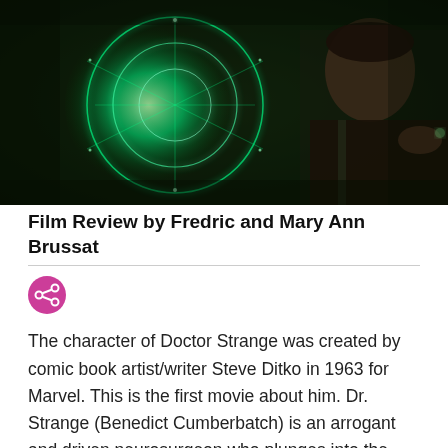[Figure (photo): A dark cinematic still from Doctor Strange showing a man in a dark costume conjuring glowing green magical energy circles/runes with his outstretched hand, dramatic lighting against a dark background.]
Film Review by Fredric and Mary Ann Brussat
[Figure (other): Pink/magenta circular share icon with a network/share symbol in white]
The character of Doctor Strange was created by comic book artist/writer Steve Ditko in 1963 for Marvel. This is the first movie about him. Dr. Strange (Benedict Cumberbatch) is an arrogant and driven neurosurgeon who plunges into the miasma of fear, dismay, and doubt when he suffers severe